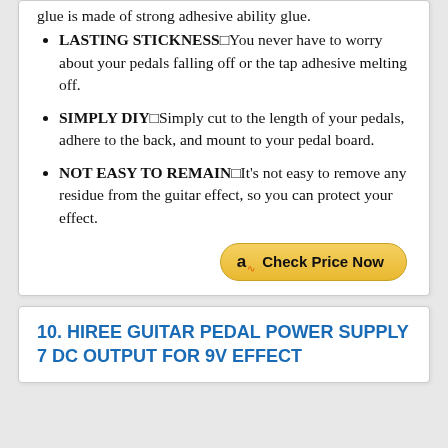glue is made of strong adhesive ability glue.
LASTING STICKINESSⓊYou never have to worry about your pedals falling off or the tap adhesive melting off.
SIMPLY DIYⓊSimply cut to the length of your pedals, adhere to the back, and mount to your pedal board.
NOT EASY TO REMAINⓊIt's not easy to remove any residue from the guitar effect, so you can protect your effect.
Check Price Now
10. HIREE GUITAR PEDAL POWER SUPPLY 7 DC OUTPUT FOR 9V EFFECT